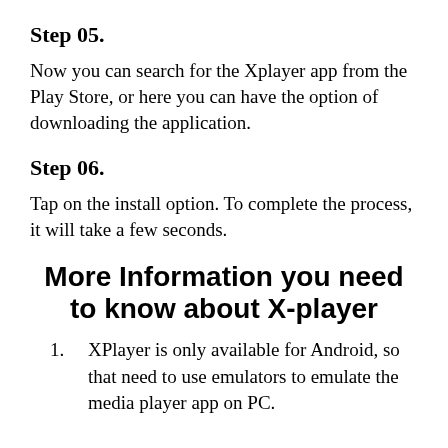Step 05.
Now you can search for the Xplayer app from the Play Store, or here you can have the option of downloading the application.
Step 06.
Tap on the install option. To complete the process, it will take a few seconds.
More Information you need to know about X-player
XPlayer is only available for Android, so that need to use emulators to emulate the media player app on PC.